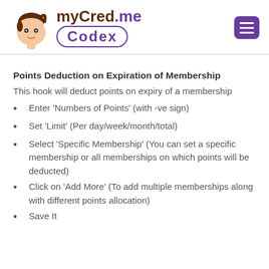[Figure (logo): myCred.me Codex logo with cartoon person avatar and purple text]
Points Deduction on Expiration of Membership
This hook will deduct points on expiry of a membership
Enter ‘Numbers of Points’ (with -ve sign)
Set ‘Limit’ (Per day/week/month/total)
Select ‘Specific Membership’ (You can set a specific membership or all memberships on which points will be deducted)
Click on ‘Add More’ (To add multiple memberships along with different points allocation)
Save It